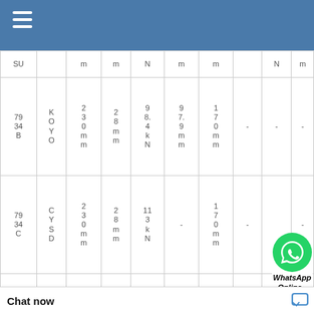| SU |  | m | m | N | m | m |  | N | m |
| --- | --- | --- | --- | --- | --- | --- | --- | --- | --- |
| 79
34
B | K
O
Y
O | 2
3
0
m
m | 2
8
m
m | 9
8.
4
k
N | 9
7.
9
m
m | 1
7
0
m
m | - | - | - |
| 79
34
C | C
Y
S
D | 2
3
0
m
m | 2
8
m
m | 1
1
3
k
N | - | 1
7
0
m
m | - | -
k
N | - |
| 79
34
CD | C
Y
S | 2
3
0
m
m | 2
8
m | 1
8
3
k | - | 1
7
0
m
m | 5
6
m
m | 2
9
0
k
N | - |
[Figure (logo): WhatsApp green phone icon circle]
WhatsApp Online -
Chat now